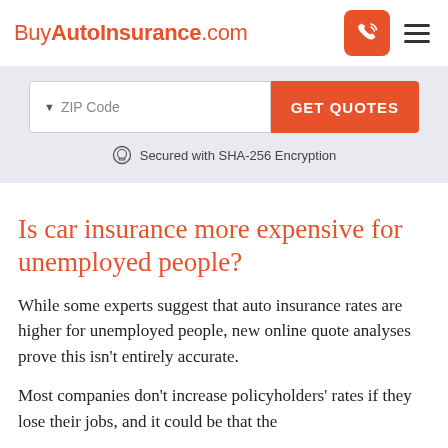BuyAutoInsurance.com
[Figure (screenshot): ZIP code input field with 'ZIP Code' placeholder and orange 'GET QUOTES' button, with 'Secured with SHA-256 Encryption' text below on a light blue-grey background.]
Is car insurance more expensive for unemployed people?
While some experts suggest that auto insurance rates are higher for unemployed people, new online quote analyses prove this isn't entirely accurate.
Most companies don't increase policyholders' rates if they lose their jobs, and it could be that the